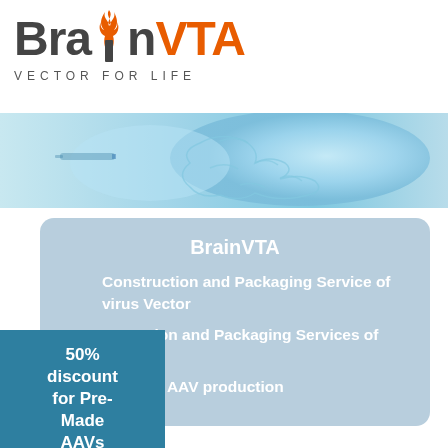[Figure (logo): BrainVTA logo with flame over letter i, orange VTA text, dark Brain text, and tagline VECTOR FOR LIFE]
[Figure (photo): Blue-tinted glowing brain illustration used as a banner image]
BrainVTA
Construction and Packaging Service of virus Vector
Construction and Packaging Services of /
ge scale AAV production
50% discount for Pre-Made AAVs